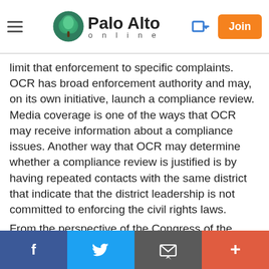Palo Alto online
limit that enforcement to specific complaints. OCR has broad enforcement authority and may, on its own initiative, launch a compliance review. Media coverage is one of the ways that OCR may receive information about a compliance issues. Another way that OCR may determine whether a compliance review is justified is by having repeated contacts with the same district that indicate that the district leadership is not committed to enforcing the civil rights laws.
From the perspective of the Congress of the United States, the interest of the United States is in ensuring that its funds are spent correctly.
If Congress were to limit OCR's jurisdiction...